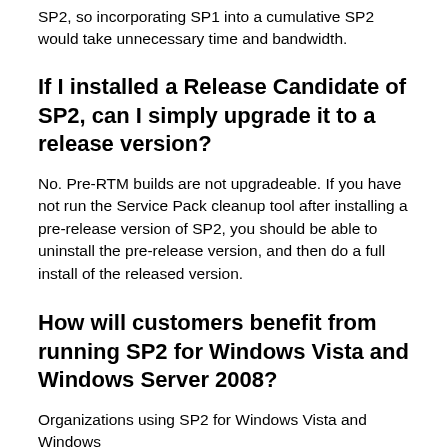SP2, so incorporating SP1 into a cumulative SP2 would take unnecessary time and bandwidth.
If I installed a Release Candidate of SP2, can I simply upgrade it to a release version?
No. Pre-RTM builds are not upgradeable. If you have not run the Service Pack cleanup tool after installing a pre-release version of SP2, you should be able to uninstall the pre-release version, and then do a full install of the released version.
How will customers benefit from running SP2 for Windows Vista and Windows Server 2008?
Organizations using SP2 for Windows Vista and Windows